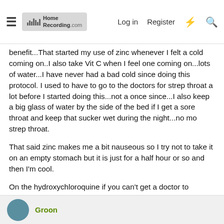HomeRecording.com — Log in  Register
benefit...That started my use of zinc whenever I felt a cold coming on..I also take Vit C when I feel one coming on...lots of water...I have never had a bad cold since doing this protocol. I used to have to go to the doctors for strep throat a lot before I started doing this...not a once since...I also keep a big glass of water by the side of the bed if I get a sore throat and keep that sucker wet during the night...no mo strep throat.
That said zinc makes me a bit nauseous so I try not to take it on an empty stomach but it is just for a half hour or so and then I'm cool.
On the hydroxychloroquine if you can't get a doctor to prescribe it I was told you can contact the Americas Front Line doctors and somehow get a prescription from...have a friend who told ne that's how he got his. I just reached out to them via their website...I'll update how it goes....
Groon